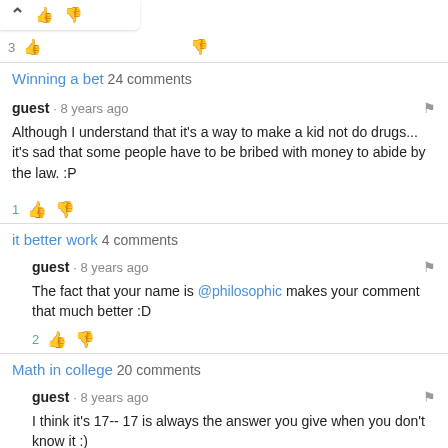Winning a bet 24 comments
guest · 8 years ago
Although I understand that it's a way to make a kid not do drugs... it's sad that some people have to be bribed with money to abide by the law. :P
1
it better work 4 comments
guest · 8 years ago
The fact that your name is @philosophic makes your comment that much better :D
2
Math in college 20 comments
guest · 8 years ago
I think it's 17-- 17 is always the answer you give when you don't know it :)